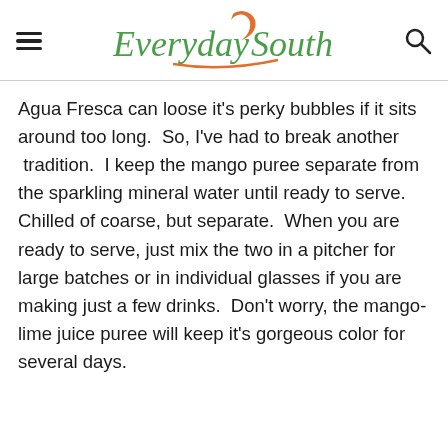Everyday Southwest [logo with hamburger menu and search icon]
Agua Fresca can loose it's perky bubbles if it sits around too long.  So, I've had to break another  tradition.  I keep the mango puree separate from the sparkling mineral water until ready to serve.  Chilled of coarse, but separate.  When you are ready to serve, just mix the two in a pitcher for large batches or in individual glasses if you are making just a few drinks.  Don't worry, the mango- lime juice puree will keep it's gorgeous color for several days.